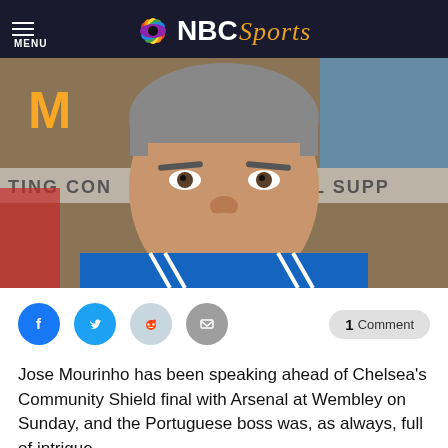MENU — NBC Sports
[Figure (photo): Jose Mourinho sitting at a press conference table, wearing a blue Chelsea tracksuit, resting his chin on his clasped hands, with McDonald's and sponsor banners visible in the background.]
[Figure (infographic): Social sharing bar with Facebook, Twitter, Reddit, and email icons, and a '1 Comment' button on the right.]
Jose Mourinho has been speaking ahead of Chelsea's Community Shield final with Arsenal at Wembley on Sunday, and the Portuguese boss was, as always, full of intrigue.